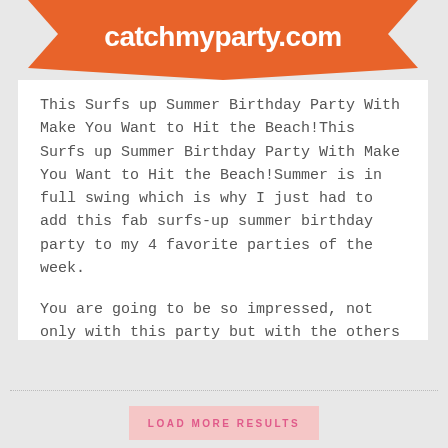[Figure (logo): Orange banner/ribbon shape with white text reading 'catchmyparty.com']
This Surfs up Summer Birthday Party With Make You Want to Hit the Beach!This Surfs up Summer Birthday Party With Make You Want to Hit the Beach!Summer is in full swing which is why I just had to add this fab surfs-up summer birthday party to my 4 favorite parties of the week.
You are going to be so impressed, not only with this party but with the others that I also picked.
CONTINUE READING →
LOAD MORE RESULTS